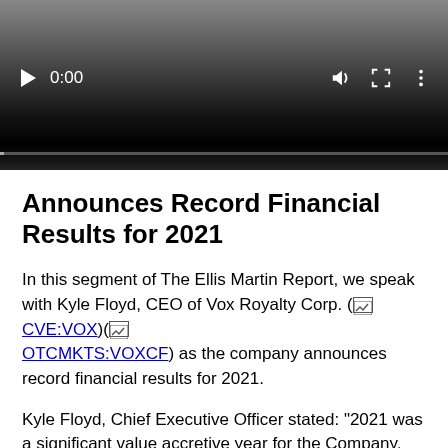[Figure (screenshot): Video player with dark gradient background showing playback controls: play button, time display '0:00', volume icon, fullscreen icon, and vertical menu icon. Progress bar at the bottom.]
Announces Record Financial Results for 2021
In this segment of The Ellis Martin Report, we speak with Kyle Floyd, CEO of Vox Royalty Corp. (CVE:VOX)(OTCMKTS:VOXCF) as the company announces record financial results for 2021.
Kyle Floyd, Chief Executive Officer stated: "2021 was a significant value accretive year for the Company, delivering peer leading shareholder-focused growth. Vox achieved record revenues, gross profits and operating cash flows while continuing to grow value per share through disciplined accretive transactions. 2022 will be a highly productive year of rapid organic portfolio development, accretive royalty acquisitions and expanded capital markets awareness with a potential secondary NASDAQ listing. The current environment for the Vox portfolio of